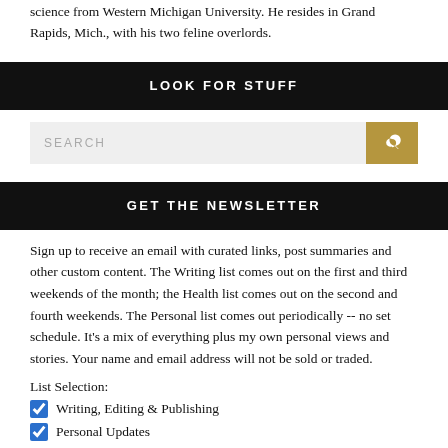science from Western Michigan University. He resides in Grand Rapids, Mich., with his two feline overlords.
LOOK FOR STUFF
[Figure (other): Search bar with text field showing 'SEARCH' placeholder and a gold magnifying glass button]
GET THE NEWSLETTER
Sign up to receive an email with curated links, post summaries and other custom content. The Writing list comes out on the first and third weekends of the month; the Health list comes out on the second and fourth weekends. The Personal list comes out periodically -- no set schedule. It's a mix of everything plus my own personal views and stories. Your name and email address will not be sold or traded.
List Selection:
Writing, Editing & Publishing
Personal Updates